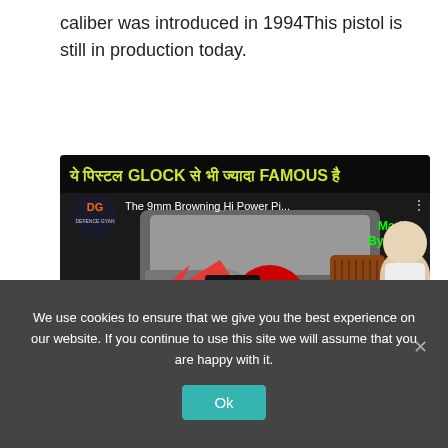caliber was introduced in 1994This pistol is still in production today.
[Figure (screenshot): YouTube video thumbnail showing a 9mm Browning Hi Power Pistol video by Defence Gyan channel. Hindi text at top reads 'ये पिस्टल GLOCK से भी ज्यादा FAMOUS है'. Shows a pistol image, red arrow, circular image of soldiers, YouTube play button, text '9mm Browning Hi Power Pistol', 'Made By India' in green, and a young man's portrait on the right.]
We use cookies to ensure that we give you the best experience on our website. If you continue to use this site we will assume that you are happy with it.